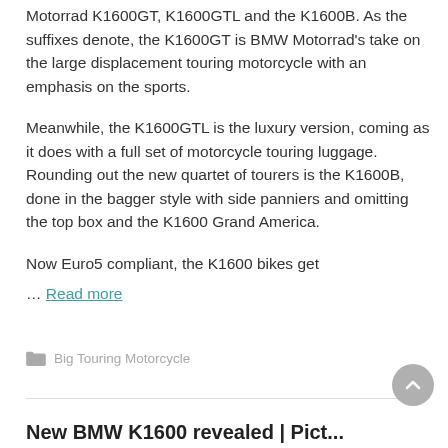Motorrad K1600GT, K1600GTL and the K1600B. As the suffixes denote, the K1600GT is BMW Motorrad's take on the large displacement touring motorcycle with an emphasis on the sports.
Meanwhile, the K1600GTL is the luxury version, coming as it does with a full set of motorcycle touring luggage. Rounding out the new quartet of tourers is the K1600B, done in the bagger style with side panniers and omitting the top box and the K1600 Grand America.
Now Euro5 compliant, the K1600 bikes get
… Read more
Big Touring Motorcycle
New BMW K1600 revealed | Picture...